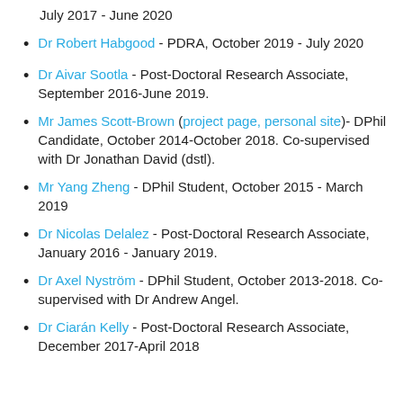July 2017 - June 2020
Dr Robert Habgood - PDRA, October 2019 - July 2020
Dr Aivar Sootla - Post-Doctoral Research Associate, September 2016-June 2019.
Mr James Scott-Brown (project page, personal site)- DPhil Candidate, October 2014-October 2018. Co-supervised with Dr Jonathan David (dstl).
Mr Yang Zheng - DPhil Student, October 2015 - March 2019
Dr Nicolas Delalez - Post-Doctoral Research Associate, January 2016 - January 2019.
Dr Axel Nyström - DPhil Student, October 2013-2018. Co-supervised with Dr Andrew Angel.
Dr Ciarán Kelly - Post-Doctoral Research Associate, December 2017-April 2018